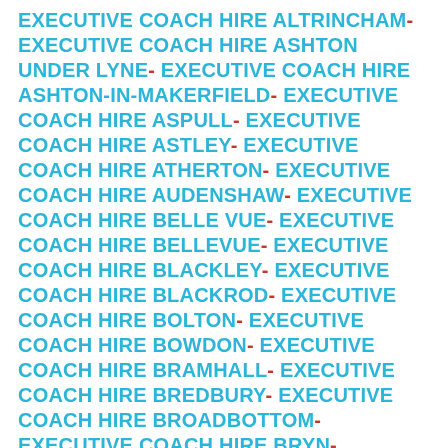EXECUTIVE COACH HIRE ALTRINCHAM- EXECUTIVE COACH HIRE ASHTON UNDER LYNE- EXECUTIVE COACH HIRE ASHTON-IN-MAKERFIELD- EXECUTIVE COACH HIRE ASPULL- EXECUTIVE COACH HIRE ASTLEY- EXECUTIVE COACH HIRE ATHERTON- EXECUTIVE COACH HIRE AUDENSHAW- EXECUTIVE COACH HIRE BELLE VUE- EXECUTIVE COACH HIRE BELLEVUE- EXECUTIVE COACH HIRE BLACKLEY- EXECUTIVE COACH HIRE BLACKROD- EXECUTIVE COACH HIRE BOLTON- EXECUTIVE COACH HIRE BOWDON- EXECUTIVE COACH HIRE BRAMHALL- EXECUTIVE COACH HIRE BREDBURY- EXECUTIVE COACH HIRE BROADBOTTOM- EXECUTIVE COACH HIRE BRYN- EXECUTIVE COACH HIRE BURY- EXECUTIVE COACH HIRE CADISHEAD- EXECUTIVE COACH HIRE CHADDERTON- EXECUTIVE COACH HIRE CHEADLE- EXECUTIVE COACH HIRE CHEETHAM HILL- EXECUTIVE COACH HIRE CHORLTON CUM HARDY- EXECUTIVE COACH HIRE CHORLTON CUM HARDY-